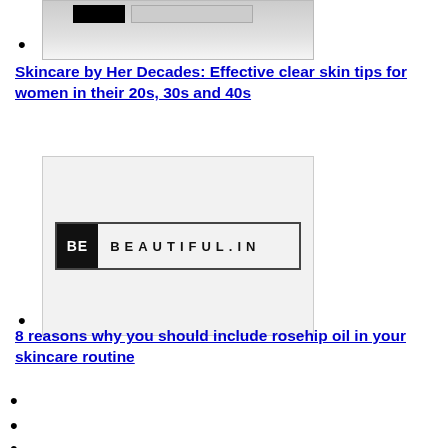[Figure (screenshot): Partial image at top, cropped, showing a logo/banner area from bebeautiful.in]
(bullet with image placeholder)
Skincare by Her Decades: Effective clear skin tips for women in their 20s, 30s and 40s
[Figure (logo): BE BEAUTIFUL.IN logo — black square with BE in white, followed by BEAUTIFUL.IN in black letters]
(bullet with image placeholder)
8 reasons why you should include rosehip oil in your skincare routine